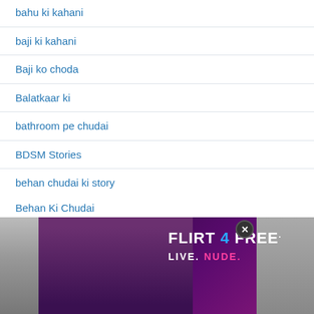bahu ki kahani
baji ki kahani
Baji ko choda
Balatkaar ki
bathroom pe chudai
BDSM Stories
behan chudai ki story
Behan Ki Chudai
Behan ki chudai ki kahani
Behan Ki Nangi Masti Dekhi
behan ko piyaar se choda
Behan Ki Chudai (partial)
[Figure (advertisement): Flirt4Free adult advertisement banner with a woman in black lingerie, text FLIRT 4 FREE LIVE. NUDE. on purple/dark background, with close button X]